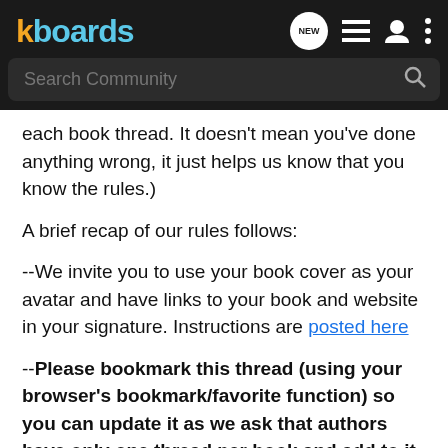kboards — NEW (icon), list (icon), user (icon), dots (icon); Search Community
each book thread. It doesn't mean you've done anything wrong, it just helps us know that you know the rules.)
A brief recap of our rules follows:
--We invite you to use your book cover as your avatar and have links to your book and website in your signature. Instructions are posted here
--Please bookmark this thread (using your browser's bookmark/favorite function) so you can update it as we ask that authors have only one thread per book and add to it when there is more information. You may start a separate thread for each book (or you may have one thread per series of books, or one thread for all of your books, it's your choice).